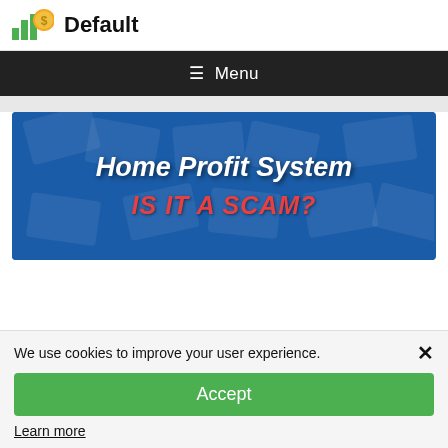Default
[Figure (screenshot): Navigation menu bar with hamburger icon and Menu text on dark background]
[Figure (illustration): Home Profit System - IS IT A SCAM? banner image with blue money background, white bold italic title text and red subtitle text]
We use cookies to improve your user experience.
Accept
Learn more